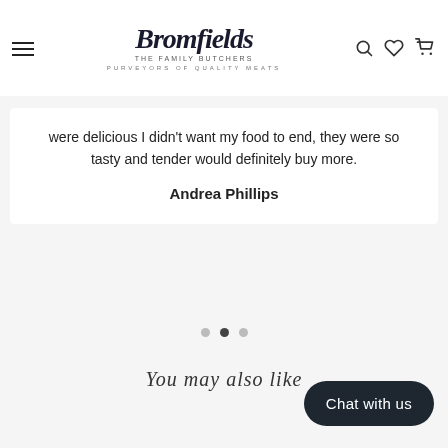Bromfields — The Family Butchers — Purveyors of Quality Meats
were delicious I didn't want my food to end, they were so tasty and tender would definitely buy more.
Andrea Phillips
[Figure (other): Carousel pagination dots — three dots, the middle one filled/active]
You may also like
Chat with us